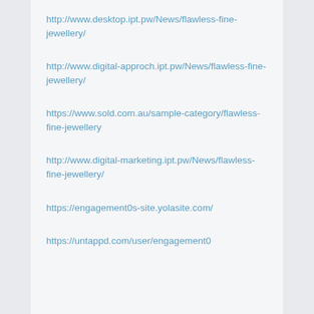http://www.desktop.ipt.pw/News/flawless-fine-jewellery/
http://www.digital-approch.ipt.pw/News/flawless-fine-jewellery/
https://www.sold.com.au/sample-category/flawless-fine-jewellery
http://www.digital-marketing.ipt.pw/News/flawless-fine-jewellery/
https://engagement0s-site.yolasite.com/
https://untappd.com/user/engagement0